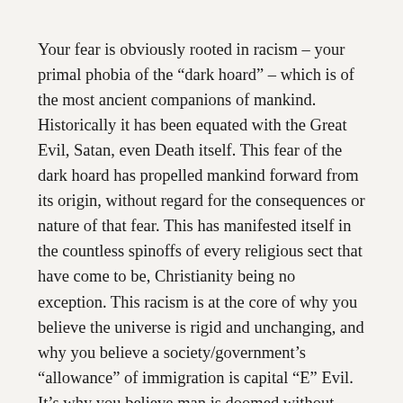Your fear is obviously rooted in racism – your primal phobia of the “dark hoard” – which is of the most ancient companions of mankind. Historically it has been equated with the Great Evil, Satan, even Death itself. This fear of the dark hoard has propelled mankind forward from its origin, without regard for the consequences or nature of that fear. This has manifested itself in the countless spinoffs of every religious sect that have come to be, Christianity being no exception. This racism is at the core of why you believe the universe is rigid and unchanging, and why you believe a society/government’s “allowance” of immigration is capital “E” Evil. It’s why you believe man is doomed without great repentance. It is a very common and simple burden that, sadly, many Americans are unable to put down.
If you find yourself with 3 hours of free time and would like to expand your perspective through a